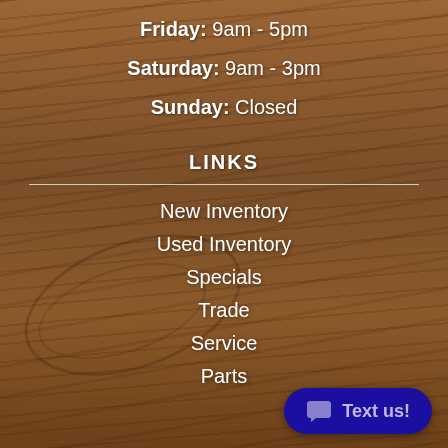Friday: 9am - 5pm
Saturday: 9am - 3pm
Sunday: Closed
LINKS
New Inventory
Used Inventory
Specials
Trade
Service
Parts
Text us!